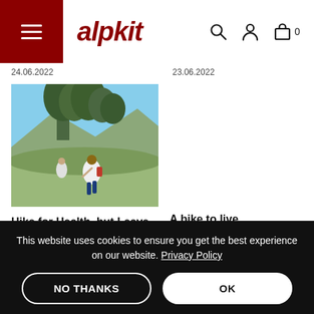alpkit
24.06.2022
23.06.2022
[Figure (photo): People hiking on a trail through dry scrubland with trees and mountains in the background.]
Hike for Health, but Leave No Waste
A bike to live
For those seeking asylum it can be
This website uses cookies to ensure you get the best experience on our website. Privacy Policy
NO THANKS
OK